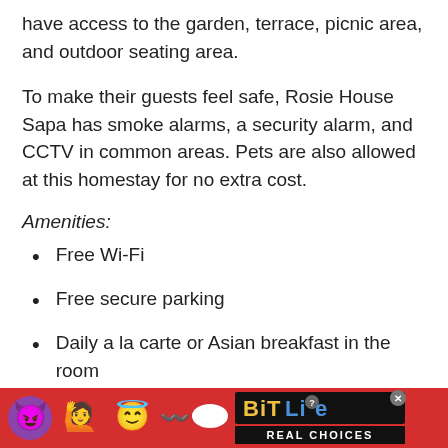have access to the garden, terrace, picnic area, and outdoor seating area.
To make their guests feel safe, Rosie House Sapa has smoke alarms, a security alarm, and CCTV in common areas. Pets are also allowed at this homestay for no extra cost.
Amenities:
Free Wi-Fi
Free secure parking
Daily a la carte or Asian breakfast in the room
Towels
[Figure (other): Advertisement banner for BitLife mobile game showing emoji characters (devil, person with raised hands, angel emoji) and BitLife logo with tagline REAL CHOICES on red background]